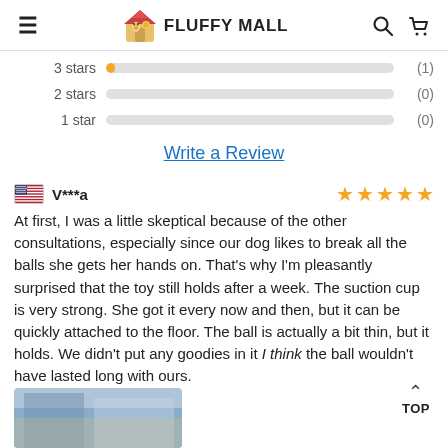FLUFFY MALL
| Rating | Bar | Count |
| --- | --- | --- |
| 3 stars |  | (1) |
| 2 stars |  | (0) |
| 1 star |  | (0) |
Write a Review
V***a — 5 stars
At first, I was a little skeptical because of the other consultations, especially since our dog likes to break all the balls she gets her hands on. That's why I'm pleasantly surprised that the toy still holds after a week. The suction cup is very strong. She got it every now and then, but it can be quickly attached to the floor. The ball is actually a bit thin, but it holds. We didn't put any goodies in it I think the ball wouldn't have lasted long with ours.
[Figure (photo): Photo of product in use, partially visible at bottom of page]